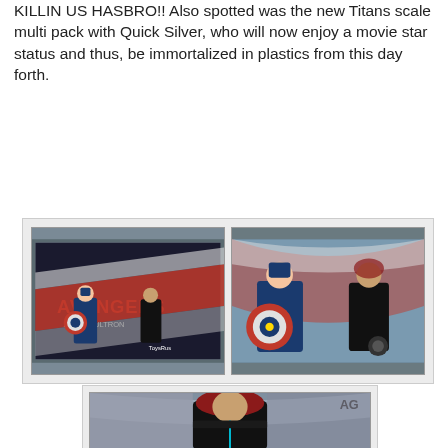KILLIN US HASBRO!! Also spotted was the new Titans scale multi pack with Quick Silver, who will now enjoy a movie star status and thus, be immortalized in plastics from this day forth.
[Figure (photo): Two photos side by side showing Avengers Age of Ultron Titans scale multi-pack toy set with Captain America and Black Widow figures in packaging, shown from front and close-up angle.]
[Figure (photo): Photo of a Black Widow action figure with red hair in black suit inside packaging, labeled AG in the top right corner.]